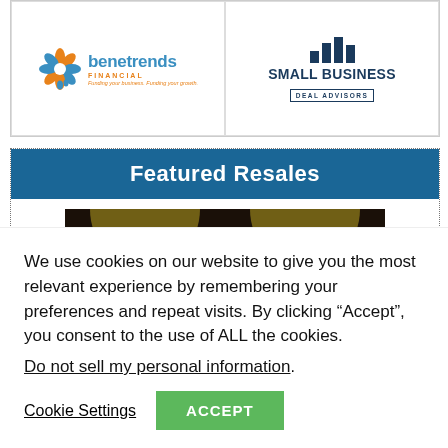[Figure (logo): Benetrends Financial logo with orange flower icon, blue text 'benetrends FINANCIAL' and tagline 'Funding your business. Funding your growth.']
[Figure (logo): Small Business Deal Advisors logo with bar chart icon and text 'SMALL BUSINESS DEAL ADVISORS']
Featured Resales
[Figure (photo): Indoor cycling class photo showing an instructor in red outfit on a stationary bike in a dark studio with yellow lighting and other cyclists in background]
CycleBar Resale in Northville MI
We use cookies on our website to give you the most relevant experience by remembering your preferences and repeat visits. By clicking “Accept”, you consent to the use of ALL the cookies.
Do not sell my personal information.
Cookie Settings
ACCEPT